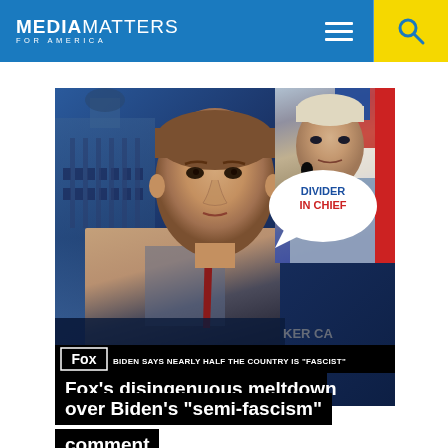MEDIA MATTERS FOR AMERICA
[Figure (screenshot): Fox News TV screenshot showing a male anchor with Biden image and 'Divider In Chief' speech bubble; lower third reads 'BIDEN SAYS NEARLY HALF THE COUNTRY IS "FASCIST"'; Fox News logo visible]
Fox’s disingenuous meltdown over Biden’s “semi-fascism” comment